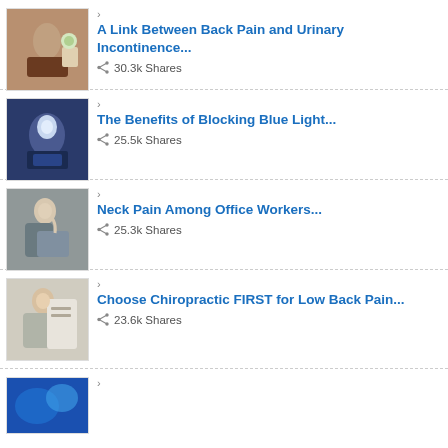A Link Between Back Pain and Urinary Incontinence... 30.3k Shares
The Benefits of Blocking Blue Light... 25.5k Shares
Neck Pain Among Office Workers... 25.3k Shares
Choose Chiropractic FIRST for Low Back Pain... 23.6k Shares
(partial item visible)